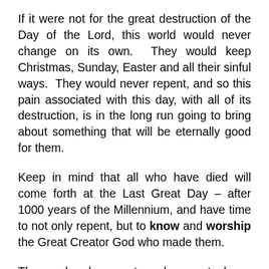If it were not for the great destruction of the Day of the Lord, this world would never change on its own.  They would keep Christmas, Sunday, Easter and all their sinful ways.  They would never repent, and so this pain associated with this day, with all of its destruction, is in the long run going to bring about something that will be eternally good for them.
Keep in mind that all who have died will come forth at the Last Great Day – after 1000 years of the Millennium, and have time to not only repent, but to know and worship the Great Creator God who made them.
Those who do repent, and come to know and worship the true Creator God will be judged righteous in the Great White Throne Judgment and